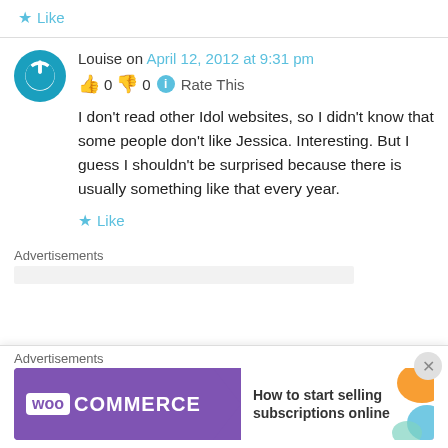★ Like
Louise on April 12, 2012 at 9:31 pm
👍 0 👎 0 ℹ Rate This
I don't read other Idol websites, so I didn't know that some people don't like Jessica. Interesting. But I guess I shouldn't be surprised because there is usually something like that every year.
★ Like
Advertisements
[Figure (screenshot): WooCommerce advertisement banner: 'How to start selling subscriptions online']